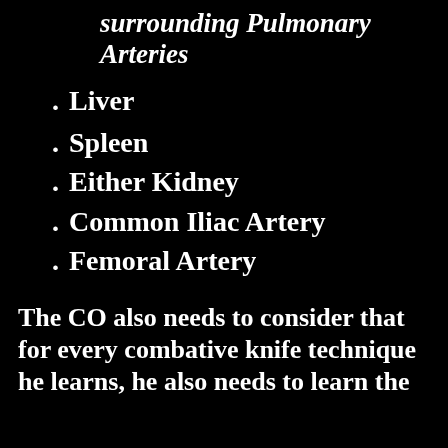surrounding Pulmonary Arteries
Liver
Spleen
Either Kidney
Common Iliac Artery
Femoral Artery
The CO also needs to consider that for every combative knife technique he learns, he also needs to learn the COUNTER to that same technique.